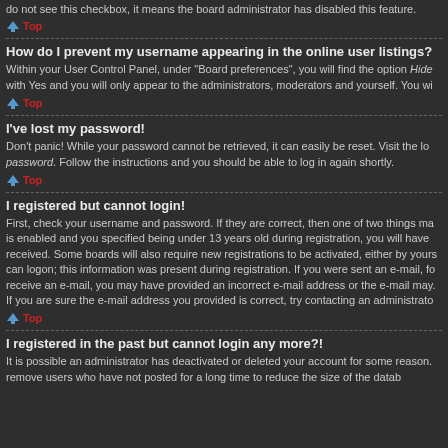do not see this checkbox, it means the board administrator has disabled this feature.
Top
How do I prevent my username appearing in the online user listings?
Within your User Control Panel, under "Board preferences", you will find the option Hide with Yes and you will only appear to the administrators, moderators and yourself. You wi
Top
I've lost my password!
Don't panic! While your password cannot be retrieved, it can easily be reset. Visit the lo password. Follow the instructions and you should be able to log in again shortly.
Top
I registered but cannot login!
First, check your username and password. If they are correct, then one of two things ma is enabled and you specified being under 13 years old during registration, you will have received. Some boards will also require new registrations to be activated, either by yours can logon; this information was present during registration. If you were sent an e-mail, fo receive an e-mail, you may have provided an incorrect e-mail address or the e-mail may. If you are sure the e-mail address you provided is correct, try contacting an administrato
Top
I registered in the past but cannot login any more?!
It is possible an administrator has deactivated or deleted your account for some reason. remove users who have not posted for a long time to reduce the size of the datab